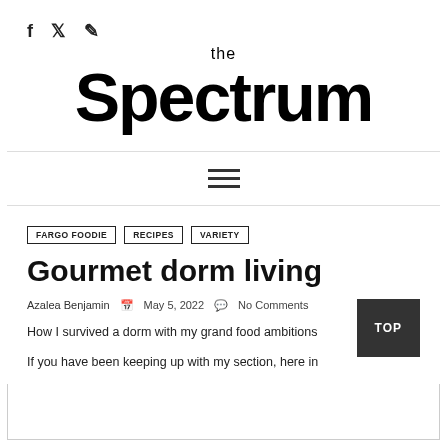the Spectrum
FARGO FOODIE | RECIPES | VARIETY
Gourmet dorm living
Azalea Benjamin  May 5, 2022  No Comments
How I survived a dorm with my grand food ambitions
If you have been keeping up with my section, here in...